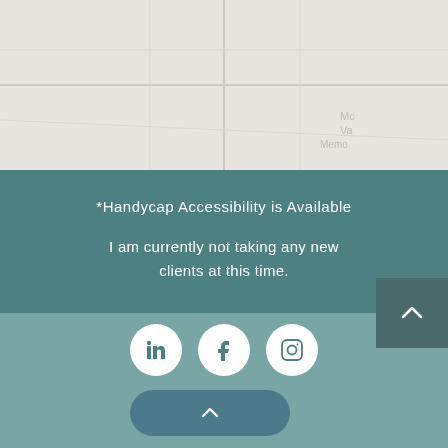[Figure (map): Map view with a red location pin marker near the center-top of the map. Map shows light beige/gray street map background with faint text labels partially visible on the right edge.]
*Handycap Accessibility is Available
I am currently not taking any new clients at this time.
[Figure (infographic): Footer with three social media icons (LinkedIn, Facebook, Instagram) in white circles on a teal/muted green background, and a scroll-to-top rounded button below them. A darker teal back-to-top arrow button appears in the top-right corner of the footer area.]